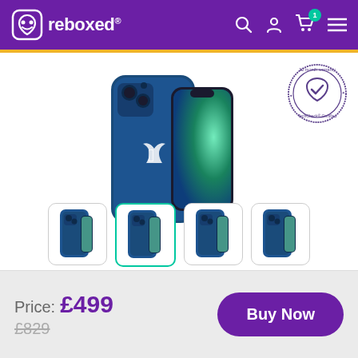reboxed
[Figure (photo): Blue iPhone 12 product photo showing back and front of the phone]
[Figure (illustration): 12 month warranty TechCheck Certified circular stamp badge]
[Figure (photo): 4 thumbnail images of the blue iPhone 12]
Price: £499
£829
Buy Now